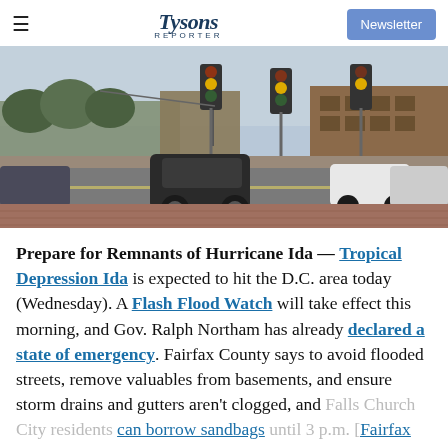Tysons Reporter | Newsletter
[Figure (photo): Street-level view of a busy intersection with traffic lights, parked and moving cars, commercial buildings, and trees in the background under overcast skies.]
Prepare for Remnants of Hurricane Ida — Tropical Depression Ida is expected to hit the D.C. area today (Wednesday). A Flash Flood Watch will take effect this morning, and Gov. Ralph Northam has already declared a state of emergency. Fairfax County says to avoid flooded streets, remove valuables from basements, and ensure storm drains and gutters aren't clogged, and Falls Church City residents can borrow sandbags until 3 p.m. [Fairfax County Emergency Information]